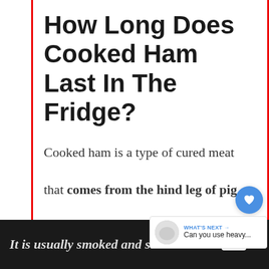How Long Does Cooked Ham Last In The Fridge?
Cooked ham is a type of cured meat that comes from the hind leg of pigs.
It is usually smoked and salted to